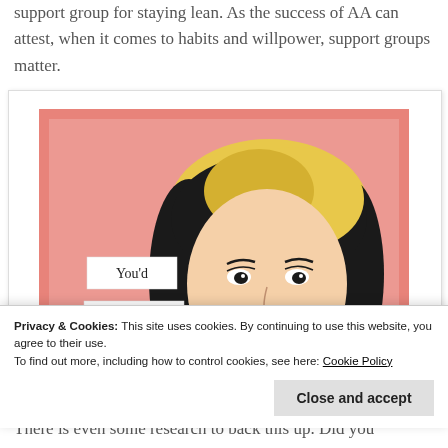support group for staying lean. As the success of AA can attest, when it comes to habits and willpower, support groups matter.
[Figure (illustration): Vintage pop-art style illustration of a woman with blonde hair on a salmon/coral background. Speech bubble labels read 'You'd', 'butter', 'believe it.' on separate label cards on the left side.]
Privacy & Cookies: This site uses cookies. By continuing to use this website, you agree to their use. To find out more, including how to control cookies, see here: Cookie Policy
Close and accept
There is even some research to back this up. Did you